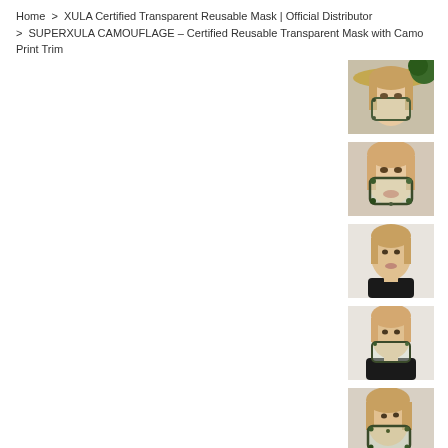Home > XULA Certified Transparent Reusable Mask | Official Distributor > SUPERXULA CAMOUFLAGE - Certified Reusable Transparent Mask with Camo Print Trim
[Figure (photo): Woman wearing transparent camouflage mask with straw hat, outdoor setting]
[Figure (photo): Woman wearing transparent camouflage mask, close-up face view]
[Figure (photo): Woman without mask wearing black top, portrait]
[Figure (photo): Woman wearing transparent mask, side/front view, black top]
[Figure (photo): Woman wearing transparent camouflage mask, close side view]
[Figure (photo): Partial thumbnail of outdoor/nature scene, cut off at bottom]